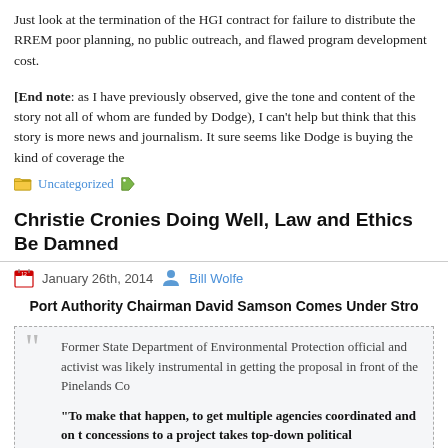Just look at the termination of the HGI contract for failure to distribute the RREM poor planning, no public outreach, and flawed program development cost.
[End note: as I have previously observed, give the tone and content of the story not all of whom are funded by Dodge), I can't help but think that this story is more news and journalism. It sure seems like Dodge is buying the kind of coverage the
Uncategorized
Christie Cronies Doing Well, Law and Ethics Be Damned
January 26th, 2014  Bill Wolfe
Port Authority Chairman David Samson Comes Under Stro
Former State Department of Environmental Protection official and activist was likely instrumental in getting the proposal in front of the Pinelands Co “To make that happen, to get multiple agencies coordinated and on t concessions to a project takes top-down political intervention that Sa Wolfe.  ~~~ WNYC  Jan 10, 2014
[Figure (other): Chart showing $1,400,000 data point with a horizontal line and a label reading 'Feb. 20']